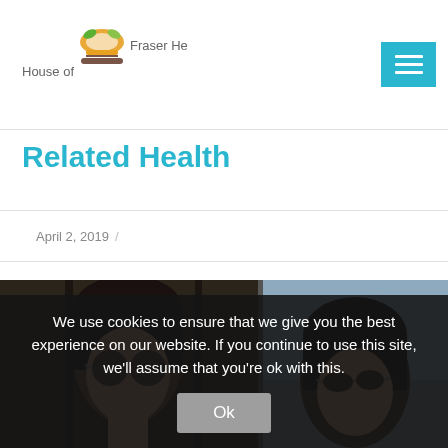House of Fraser Health
Related Health
April 2, 2019 /
[Figure (photo): Two women wearing sunglasses, side by side photo strip]
We use cookies to ensure that we give you the best experience on our website. If you continue to use this site, we'll assume that you're ok with this. Ok